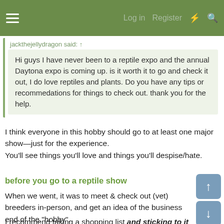≡  Log in  Register  ⚡  🔍
jackthejellydragon said: ↑
Hi guys I have never been to a reptile expo and the annual Daytona expo is coming up. is it worth it to go and check it out, I do love reptiles and plants. Do you have any tips or recommedations for things to check out. thank you for the help.
I think everyone in this hobby should go to at least one major show—just for the experience.
You'll see things you'll love and things you'll despise/hate.
before you go to a reptile show
When we went, it was to meet & check out (vet) breeders in-person, and get an idea of the business end of the "hobby".
I recommend taking a shopping list and sticking to it